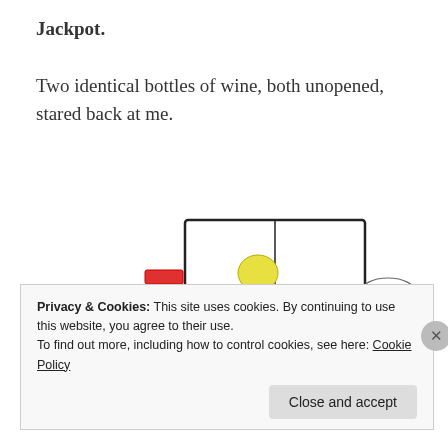Jackpot.
Two identical bottles of wine, both unopened, stared back at me.
[Figure (illustration): A hand-drawn comic showing a red chair, two rabbits with a speech bubble saying 'Sweet mother of kale she's lost her mind!', a speech bubble saying 'I bet you 3 pieces of hay she gives up and drinks those after 5 minutes', an open book/card with a tree illustration, a pink circle, a blue rectangle, and a stick figure holding two wine bottles with a speech bubble saying 'Let's do this!']
Privacy & Cookies: This site uses cookies. By continuing to use this website, you agree to their use.
To find out more, including how to control cookies, see here: Cookie Policy
Close and accept